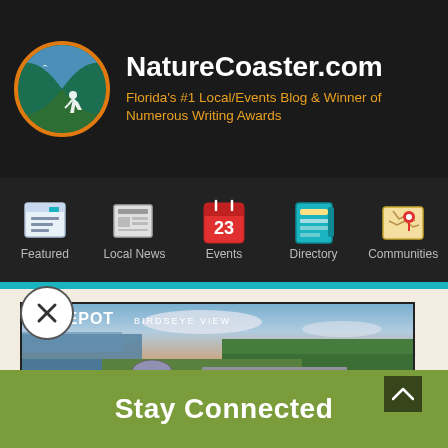NatureCoaster.com — Florida's #1 Local/Events Blog & Winner of Numerous Writing Awards
[Figure (logo): NatureCoaster.com circular logo with orange border showing nature/hiking scene]
NatureCoaster.com
Florida's #1 Local/Events Blog & Winner of Numerous Writing Awards
[Figure (infographic): Navigation bar with 5 icons: Featured, Local News, Events (calendar showing 23), Directory, Communities]
[Figure (photo): The Depot Birdseye View — aerial photo of The Depot venue with water tower and surrounding trees and water]
Stay Connected